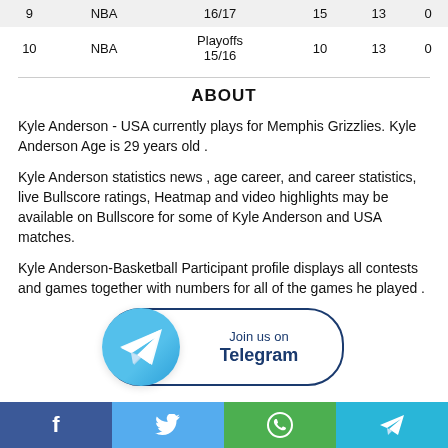| # | League | Season | G | A | Y |
| --- | --- | --- | --- | --- | --- |
| 9 | NBA | 16/17 | 15 | 13 | 0 |
| 10 | NBA | Playoffs 15/16 | 10 | 13 | 0 |
ABOUT
Kyle Anderson - USA currently plays for Memphis Grizzlies. Kyle Anderson Age is 29 years old .
Kyle Anderson statistics news , age career, and career statistics, live Bullscore ratings, Heatmap and video highlights may be available on Bullscore for some of Kyle Anderson and USA matches.
Kyle Anderson-Basketball Participant profile displays all contests and games together with numbers for all of the games he played .
[Figure (logo): Join us on Telegram banner with Telegram logo circle and text]
Facebook | Twitter | WhatsApp | Telegram social share bar